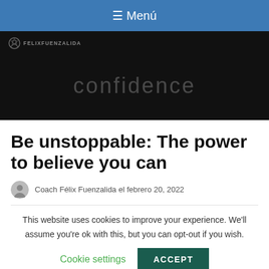≡ Menú
[Figure (screenshot): Dark hero banner with logo 'FELIXFUENZALIDA' and the word 'confidence' in grey text on black background]
Be unstoppable: The power to believe you can
Coach Félix Fuenzalida el febrero 20, 2022
This website uses cookies to improve your experience. We'll assume you're ok with this, but you can opt-out if you wish.
Cookie settings   ACCEPT